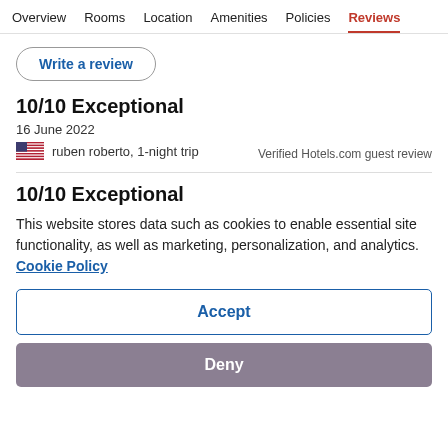Overview  Rooms  Location  Amenities  Policies  Reviews
Write a review
10/10 Exceptional
16 June 2022
ruben roberto, 1-night trip
Verified Hotels.com guest review
10/10 Exceptional
This website stores data such as cookies to enable essential site functionality, as well as marketing, personalization, and analytics. Cookie Policy
Accept
Deny